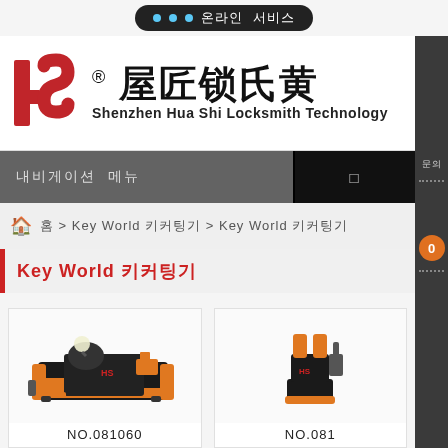💬 온라인 서비스
[Figure (logo): HS logo with Chinese characters 屋匠锁氏黄 and text Shenzhen Hua Shi Locksmith Technology]
내비게이션 메뉴  □
홈 > Key World 키커팅기 > Key World 키커팅기
Key World 키커팅기
[Figure (photo): Key cutting machine product photo, model NO.081060, orange and black colors]
[Figure (photo): Key cutting machine product photo, model NO.081..., orange and black colors]